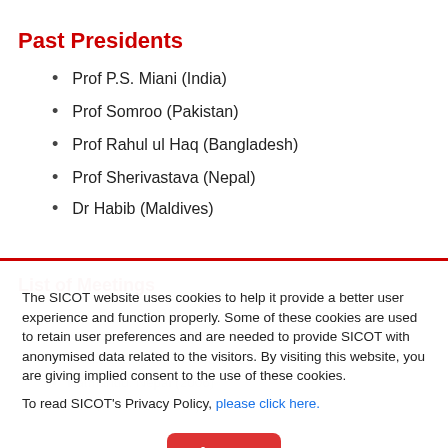Past Presidents
Prof P.S. Miani (India)
Prof Somroo (Pakistan)
Prof Rahul ul Haq (Bangladesh)
Prof Sherivastava (Nepal)
Dr Habib (Maldives)
List of Meetings
New Delhi (2000)
Karachi, Pakistan (2002)
Dhaka, Bangladesh (2004)
Katmandu, Nepal (2006)
Male, Maldives (2008)
The SICOT website uses cookies to help it provide a better user experience and function properly. Some of these cookies are used to retain user preferences and are needed to provide SICOT with anonymised data related to the visitors. By visiting this website, you are giving implied consent to the use of these cookies.

To read SICOT's Privacy Policy, please click here.